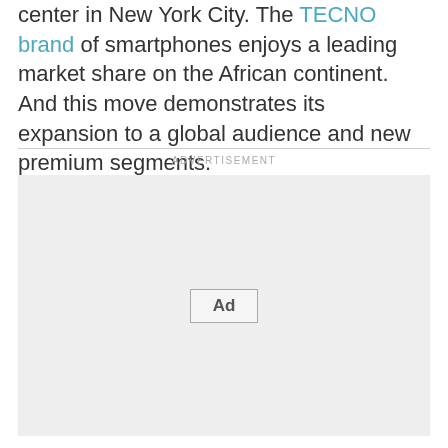center in New York City. The TECNO brand of smartphones enjoys a leading market share on the African continent. And this move demonstrates its expansion to a global audience and new premium segments.
ADVERTISEMENT
[Figure (other): Advertisement placeholder box with 'Ad' button centered inside a light grey rectangle]